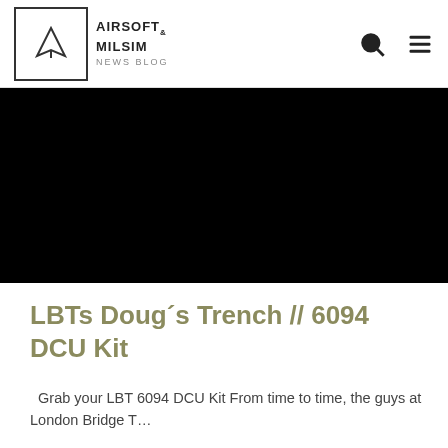AIRSOFT & MILSIM NEWS BLOG
[Figure (screenshot): Black banner image area at top of article]
LBTs Doug´s Trench // 6094 DCU Kit
Grab your LBT 6094 DCU Kit From time to time, the guys at London Bridge T…
18. July 2015
[Figure (screenshot): LBT-6094-Multicam-Black image placeholder on black background]
LBT Inc. // MULTICAM BLACK